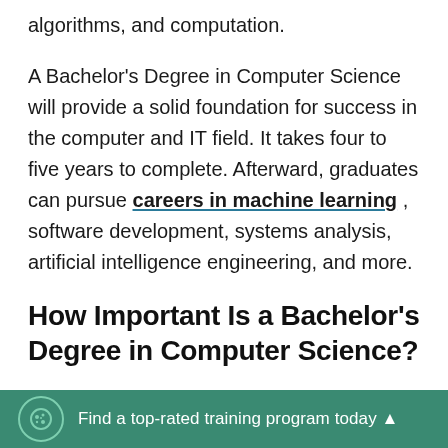algorithms, and computation.

A Bachelor's Degree in Computer Science will provide a solid foundation for success in the computer and IT field. It takes four to five years to complete. Afterward, graduates can pursue careers in machine learning , software development, systems analysis, artificial intelligence engineering, and more.
How Important Is a Bachelor's Degree in Computer Science?
A Bachelor's Degree in Computer Science is
Find a top-rated training program today ▲